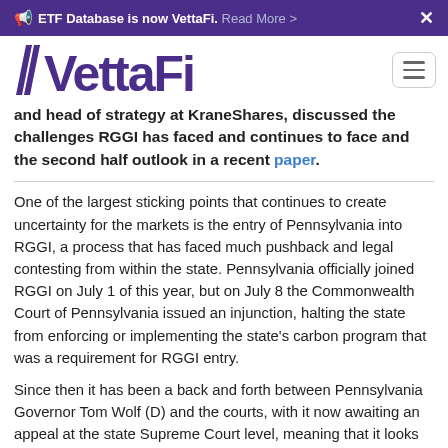ETF Database is now VettaFi. Read More >
[Figure (logo): VettaFi logo with stylized double-slash mark and hamburger menu button]
and head of strategy at KraneShares, discussed the challenges RGGI has faced and continues to face and the second half outlook in a recent paper.
One of the largest sticking points that continues to create uncertainty for the markets is the entry of Pennsylvania into RGGI, a process that has faced much pushback and legal contesting from within the state. Pennsylvania officially joined RGGI on July 1 of this year, but on July 8 the Commonwealth Court of Pennsylvania issued an injunction, halting the state from enforcing or implementing the state's carbon program that was a requirement for RGGI entry.
Since then it has been a back and forth between Pennsylvania Governor Tom Wolf (D) and the courts, with it now awaiting an appeal at the state Supreme Court level, meaning that it looks increasingly unlikely that